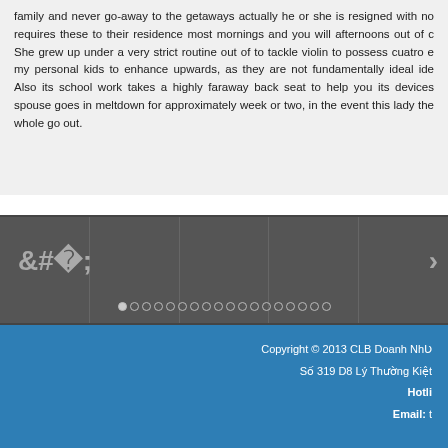family and never go-away to the getaways actually he or she is resigned with no requires these to their residence most mornings and you will afternoons out of c She grew up under a very strict routine out of to tackle violin to possess cuatro e my personal kids to enhance upwards, as they are not fundamentally ideal ide Also its school work takes a highly faraway back seat to help you its devices spouse goes in meltdown for approximately week or two, in the event this lady the whole go out.
[Figure (other): Image slider UI element with left/right navigation arrows, five dark gray panel sections divided by vertical lines, and two rows of circular pagination dots at the bottom.]
Copyright © 2013 CLB Doanh Nh
Số 319 D8 Lý Thường Kiệt
Hotli
Email: t